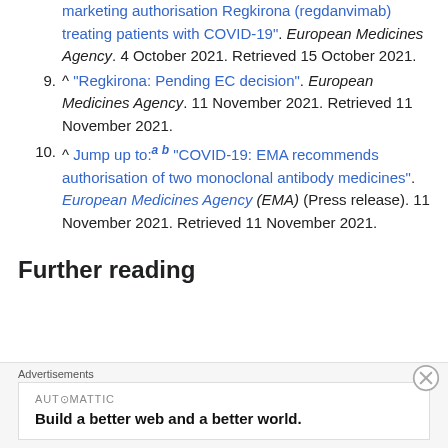8. ^ marketing authorisation Regkirona (regdanvimab) treating patients with COVID-19". European Medicines Agency. 4 October 2021. Retrieved 15 October 2021.
9. ^ "Regkirona: Pending EC decision". European Medicines Agency. 11 November 2021. Retrieved 11 November 2021.
10. ^ Jump up to: a b "COVID-19: EMA recommends authorisation of two monoclonal antibody medicines". European Medicines Agency (EMA) (Press release). 11 November 2021. Retrieved 11 November 2021.
Further reading
[Figure (other): Advertisement banner: Automattic logo and tagline 'Build a better web and a better world.']